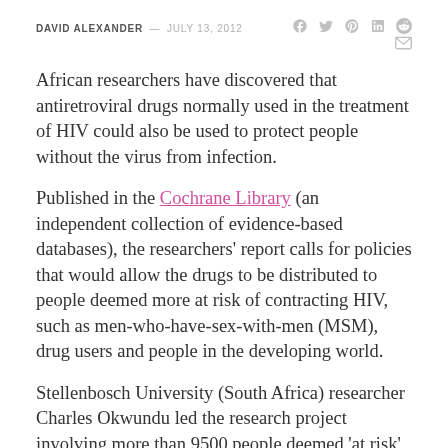DAVID ALEXANDER — JULY 13, 2012
African researchers have discovered that antiretroviral drugs normally used in the treatment of HIV could also be used to protect people without the virus from infection.
Published in the Cochrane Library (an independent collection of evidence-based databases), the researchers' report calls for policies that would allow the drugs to be distributed to people deemed more at risk of contracting HIV, such as men-who-have-sex-with-men (MSM), drug users and people in the developing world.
Stellenbosch University (South Africa) researcher Charles Okwundu led the research project involving more than 9500 people deemed 'at risk' of contracting HIV, which looked at the use of 'pre-exposure